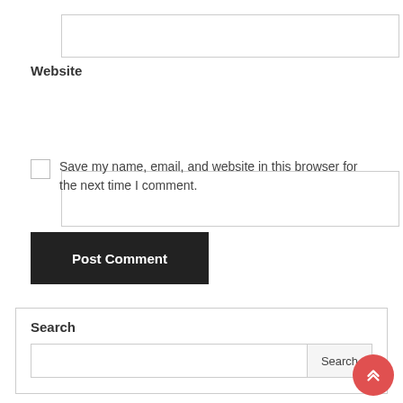[input field - top, unlabeled]
Website
[input field - website]
Save my name, email, and website in this browser for the next time I comment.
Post Comment
Search
[search input field]
Search